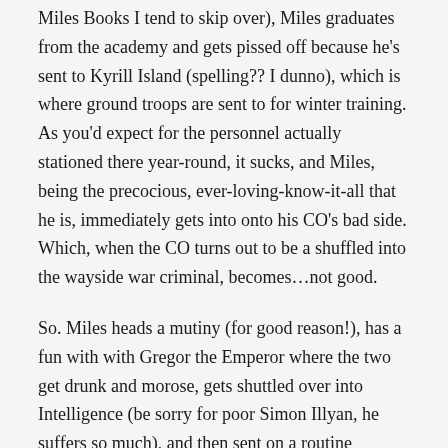Miles Books I tend to skip over), Miles graduates from the academy and gets pissed off because he's sent to Kyrill Island (spelling?? I dunno), which is where ground troops are sent to for winter training. As you'd expect for the personnel actually stationed there year-round, it sucks, and Miles, being the precocious, ever-loving-know-it-all that he is, immediately gets into onto his CO's bad side. Which, when the CO turns out to be a shuffled into the wayside war criminal, becomes…not good.
So. Miles heads a mutiny (for good reason!), has a fun with with Gregor the Emperor where the two get drunk and morose, gets shuttled over into Intelligence (be sorry for poor Simon Illyan, he suffers so much), and then sent on a routine mission that gets um, some forward momentum.
Basically, Miles is just too smart for himself, and he meets